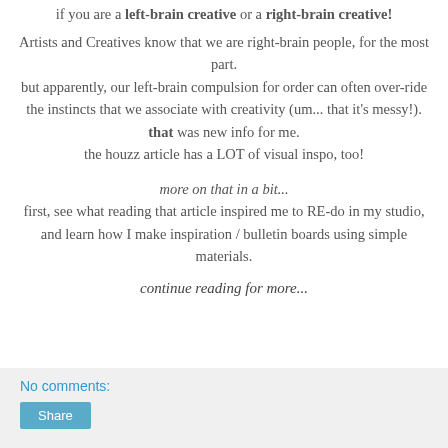if you are a left-brain creative or a right-brain creative!
Artists and Creatives know that we are right-brain people, for the most part.
but apparently, our left-brain compulsion for order can often over-ride
the instincts that we associate with creativity (um... that it's messy!).
that was new info for me.
the houzz article has a LOT of visual inspo, too!
more on that in a bit...
first, see what reading that article inspired me to RE-do in my studio,
and learn how I make inspiration / bulletin boards using simple materials.
continue reading for more...
No comments: